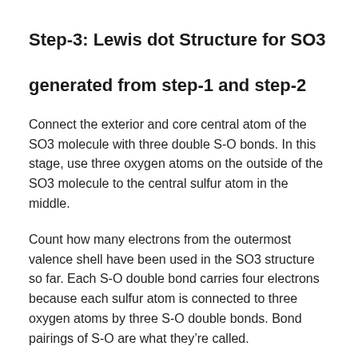Step-3: Lewis dot Structure for SO3 generated from step-1 and step-2
Connect the exterior and core central atom of the SO3 molecule with three double S-O bonds. In this stage, use three oxygen atoms on the outside of the SO3 molecule to the central sulfur atom in the middle.
Count how many electrons from the outermost valence shell have been used in the SO3 structure so far. Each S-O double bond carries four electrons because each sulfur atom is connected to three oxygen atoms by three S-O double bonds. Bond pairings of S-O are what they’re called.